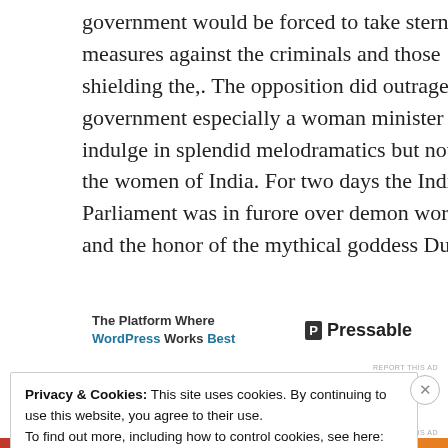government would be forced to take stern measures against the criminals and those shielding the,. The opposition did outrage, the government especially a woman minister did indulge in splendid melodramatics but not for the women of India. For two days the Indian Parliament was in furore over demon worship and the honor of the mythical goddess Durga.
[Figure (screenshot): Advertisement banner: 'The Platform Where WordPress Works Best' with Pressable logo on the right]
Yes you read that correctly: DISCUSSING THE
Privacy & Cookies: This site uses cookies. By continuing to use this website, you agree to their use. To find out more, including how to control cookies, see here: Cookie Policy
Close and accept